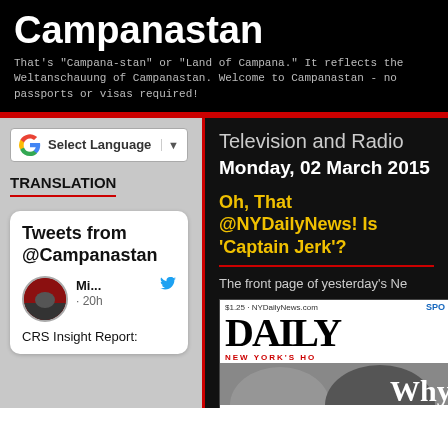Campanastan
That's "Campana-stan" or "Land of Campana." It reflects the Weltanschauung of Campanastan. Welcome to Campanastan - no passports or visas required!
[Figure (screenshot): Google Translate Select Language widget]
TRANSLATION
[Figure (screenshot): Tweets from @Campanastan Twitter widget showing tweet by Mi... 20h: CRS Insight Report:]
Television and Radio
Monday, 02 March 2015
Oh, That @NYDailyNews! Is 'Captain Jerk'?
The front page of yesterday's Ne
[Figure (photo): New York Daily News newspaper front page showing masthead DAILY and NEW YORK'S HO subtitle, with photo of two people and WHY headline]